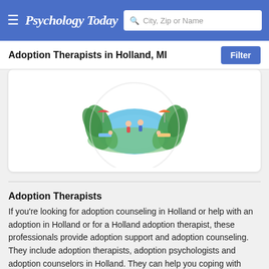Psychology Today — City, Zip or Name search
Adoption Therapists in Holland, MI
[Figure (illustration): Circular illustration showing a pool or pond scene with people, trees, and greenery, used as a therapist profile image placeholder.]
Adoption Therapists
If you're looking for adoption counseling in Holland or help with an adoption in Holland or for a Holland adoption therapist, these professionals provide adoption support and adoption counseling. They include adoption therapists, adoption psychologists and adoption counselors in Holland. They can help you coping with adoption in Holland, they can support adopting families and provide child counseling for the adopted child (or adopted children) or foster child (or